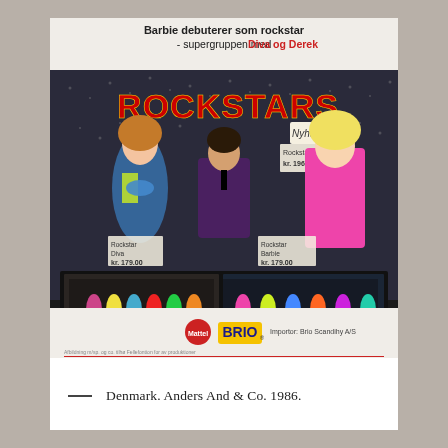[Figure (photo): A Danish 1986 Barbie Rockstars advertisement from Anders And & Co. showing Barbie, Ken (Derek), and Diva dolls dressed as rock stars. The ad features the text 'Barbie debuterer som rockstar - supergruppen med Diva og Derek', 'ROCKSTARS', 'Nyhed 86', with prices listed: Rockstar Derek kr. 196.00, Rockstar Diva kr. 179.00, Rockstar Barbie kr. 179.00. Bottom shows Mattel and BRIO logos with 'Importor: Brio Scandihy A/S'. A watermark reads 'thevintagetoadvertiser.org'.]
— Denmark. Anders And & Co. 1986.